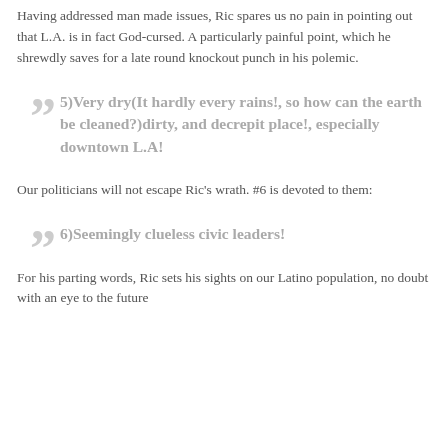Having addressed man made issues, Ric spares us no pain in pointing out that L.A. is in fact God-cursed. A particularly painful point, which he shrewdly saves for a late round knockout punch in his polemic.
5)Very dry(It hardly every rains!, so how can the earth be cleaned?)dirty, and decrepit place!, especially downtown L.A!
Our politicians will not escape Ric's wrath. #6 is devoted to them:
6)Seemingly clueless civic leaders!
For his parting words, Ric sets his sights on our Latino population, no doubt with an eye to the future